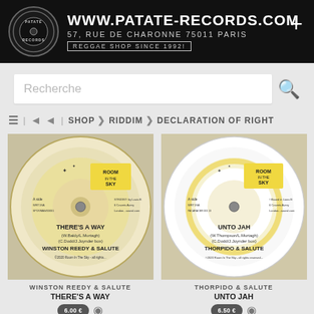www.patate-records.com | 57, RUE DE CHARONNE 75011 PARIS | REGGAE SHOP SINCE 1992!
Recherche
≡ | ▼ | SHOP > RIDDIM > DECLARATION OF RIGHT
[Figure (photo): Vinyl record label: THERE'S A WAY (W.Baldy/L.Murtagh)(C.Dodd/J.Joynder box) WINSTON REEDY & SALUTE - Room In The Sky label]
[Figure (photo): Vinyl record label: UNTO JAH (W.Thompson/L.Murtagh)(C.Dodd/J.Joynder box) THORPIDO & SALUTE - Room In The Sky label]
WINSTON REEDY & SALUTE
THORPIDO & SALUTE
THERE'S A WAY
UNTO JAH